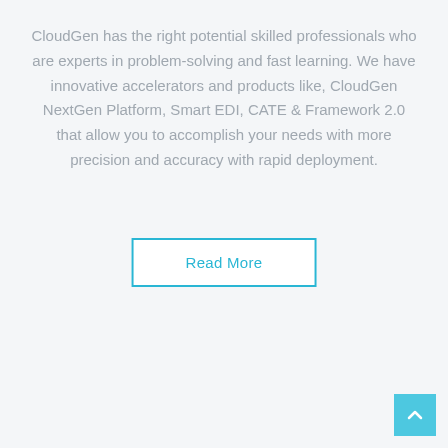CloudGen has the right potential skilled professionals who are experts in problem-solving and fast learning. We have innovative accelerators and products like, CloudGen NextGen Platform, Smart EDI, CATE & Framework 2.0 that allow you to accomplish your needs with more precision and accuracy with rapid deployment.
Read More